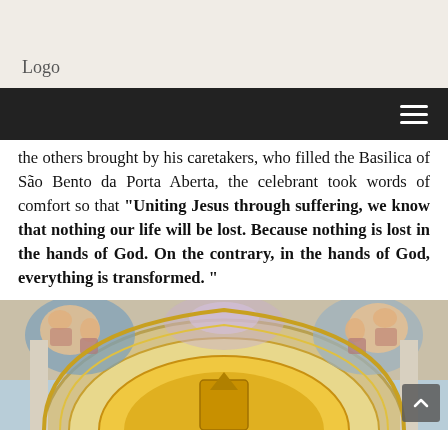Logo
the others brought by his caretakers, who filled the Basilica of São Bento da Porta Aberta, the celebrant took words of comfort so that “Uniting Jesus through suffering, we know that nothing our life will be lost. Because nothing is lost in the hands of God. On the contrary, in the hands of God, everything is transformed. ”
[Figure (photo): Interior of the Basilica of São Bento da Porta Aberta showing ornate golden altar arch with religious ceiling frescoes and painted decorations in blue, gold, and pink tones.]